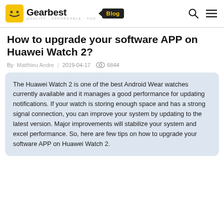Gearbest Blog
How to upgrade your software APP on Huawei Watch 2?
By  Matthieu Andre   2019-04-17   6844
The Huawei Watch 2 is one of the best Android Wear watches currently available and it manages a good performance for updating notifications. If your watch is storing enough space and has a strong signal connection, you can improve your system by updating to the latest version. Major improvements will stabilize your system and excel performance. So, here are few tips on how to upgrade your software APP on Huawei Watch 2.